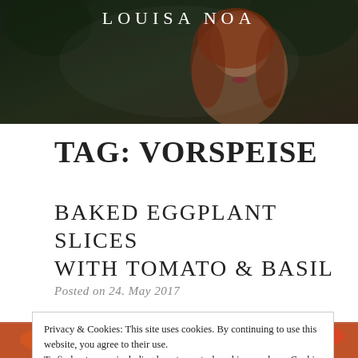[Figure (photo): Header photo showing a woman with long red hair in a dark outdoor background, with white text overlay reading LOUISA NOA]
LOUISA NOA
TAG: VORSPEISE
BAKED EGGPLANT SLICES WITH TOMATO & BASIL
Posted on 24. May 2017
Privacy & Cookies: This site uses cookies. By continuing to use this website, you agree to their use.
To find out more, including how to control cookies, see here: Cookie Policy
Close and accept
[Figure (photo): Partial view of a food photo showing baked eggplant slices with tomato and basil at the bottom of the page]